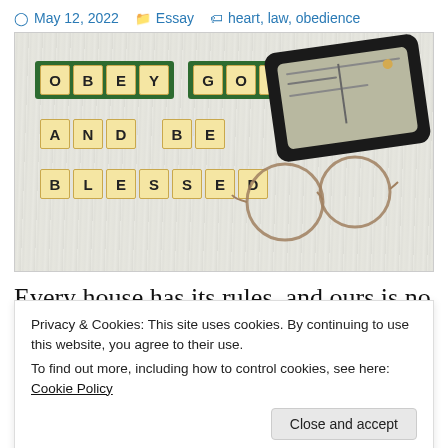May 12, 2022  Essay  heart, law, obedience
[Figure (photo): Scrabble tiles on a wooden surface spelling 'OBEY GOD' on a green rack, and 'AND BE' and 'BLESSED' below. To the right, a black glasses case and round wire-frame glasses.]
Every house has its rules, and ours is no
Privacy & Cookies: This site uses cookies. By continuing to use this website, you agree to their use.
To find out more, including how to control cookies, see here: Cookie Policy
prompted lots of tears and plenty of